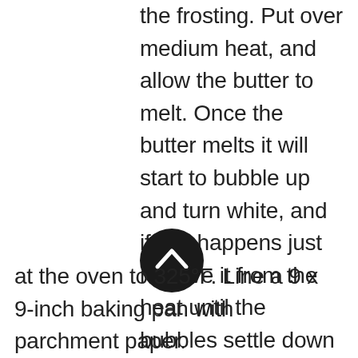the frosting. Put over medium heat, and allow the butter to melt. Once the butter melts it will start to bubble up and turn white, and if this happens just remove it from the heat until the bubbles settle down so you can keep an eye on the color. Cook the butter until it turns a maple syrup color, milk solids will sink to the bottom forming little dark specs. The aroma will also smell sweet and nutty. Once this happens, remove from heat. Allow it to cool until it is a solid again. This can be done the day ahead of making these bars, make sure it is a solid before using it to make the frosting.
[Figure (other): Black circular button with white upward-pointing chevron/arrow icon]
at the oven to 325°F. Line a 9 x 9-inch baking pan with parchment paper.